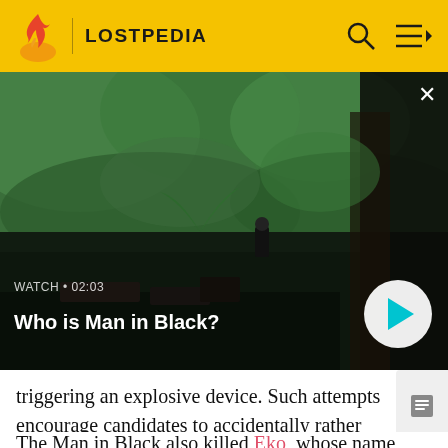LOSTPEDIA
[Figure (screenshot): Video thumbnail showing a man in black standing in a jungle landscape with debris, overlaid with watch label 'WATCH • 02:03', title 'Who is Man in Black?', and a play button.]
triggering an explosive device. Such attempts encourage candidates to accidentally rather than deliberately kill themselves or each other, as rules appeared to protect the candidates from suicide.
The Man in Black also killed Eko, whose name appeared...